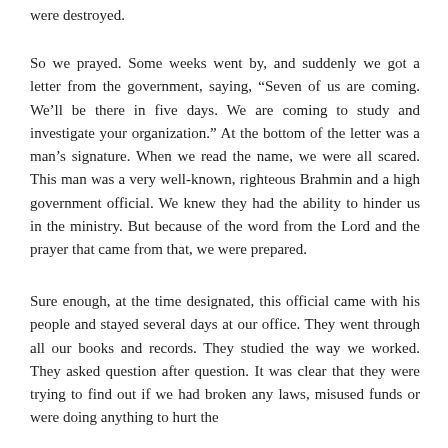were destroyed.
So we prayed. Some weeks went by, and suddenly we got a letter from the government, saying, “Seven of us are coming. We’ll be there in five days. We are coming to study and investigate your organization.” At the bottom of the letter was a man’s signature. When we read the name, we were all scared. This man was a very well-known, righteous Brahmin and a high government official. We knew they had the ability to hinder us in the ministry. But because of the word from the Lord and the prayer that came from that, we were prepared.
Sure enough, at the time designated, this official came with his people and stayed several days at our office. They went through all our books and records. They studied the way we worked. They asked question after question. It was clear that they were trying to find out if we had broken any laws, misused funds or were doing anything to hurt the